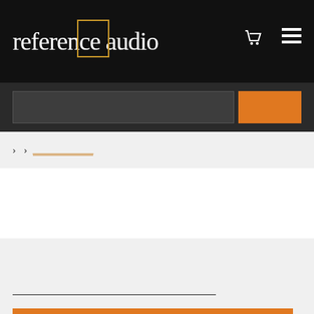reference audio
[Figure (screenshot): Search input field with orange search button]
› › (breadcrumb navigation with underlined link)
[Figure (screenshot): White content area placeholder]
[Figure (screenshot): Gray section with horizontal divider line and large orange button at bottom]